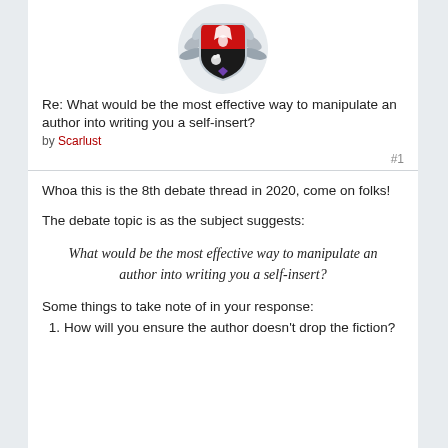[Figure (illustration): Decorative badge/crest icon with red shield and ornate silver leaves, used as a user avatar on a forum post]
Re: What would be the most effective way to manipulate an author into writing you a self-insert?
by Scarlust
Whoa this is the 8th debate thread in 2020, come on folks!
The debate topic is as the subject suggests:
What would be the most effective way to manipulate an author into writing you a self-insert?
Some things to take note of in your response:
How will you ensure the author doesn't drop the fiction?